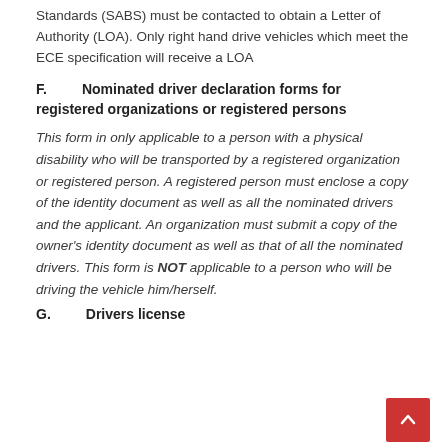Standards (SABS) must be contacted to obtain a Letter of Authority (LOA).  Only right hand drive vehicles which meet the ECE specification will receive a LOA
F.         Nominated driver declaration forms for registered organizations or registered persons
This form in only applicable to a person with a physical disability who will be transported by a registered organization or registered person.  A registered person must enclose a copy of the identity document as well as all the nominated drivers and the applicant.  An organization must submit a copy of the owner's identity document as well as that of all the nominated drivers.  This form is NOT applicable to a person who will be driving the vehicle him/herself.
G.         Drivers license